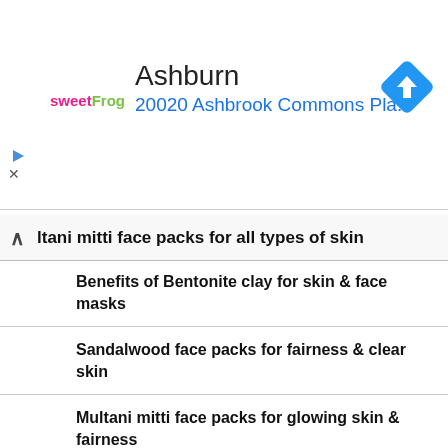[Figure (screenshot): SweetFrog advertisement banner showing Ashburn location at 20020 Ashbrook Commons Pla... with a blue navigation diamond icon]
ltani mitti face packs for all types of skin
Benefits of Bentonite clay for skin & face masks
Sandalwood face packs for fairness & clear skin
Multani mitti face packs for glowing skin & fairness
Homemade vitamin E capsule face packs
Magical Face Masks from Different Countries of the World
Milk face packs for pimples & acne prone skin
Besan/gram flour face packs for glowing & fair skin